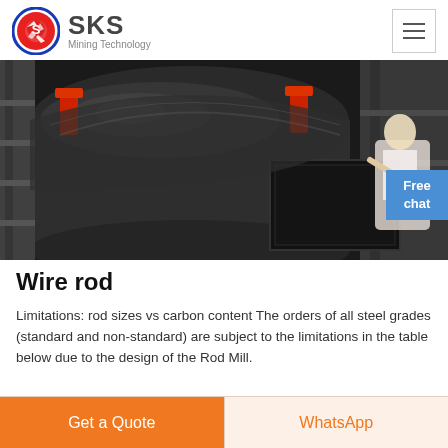SKS Mining Technology
[Figure (photo): Close-up photo of industrial wire rod mill machinery showing a large dark cylindrical drum with red clamps and metal framework]
Wire rod
Limitations: rod sizes vs carbon content The orders of all steel grades (standard and non-standard) are subject to the limitations in the table below due to the design of the Rod Mill.
Get a Quote
WhatsApp